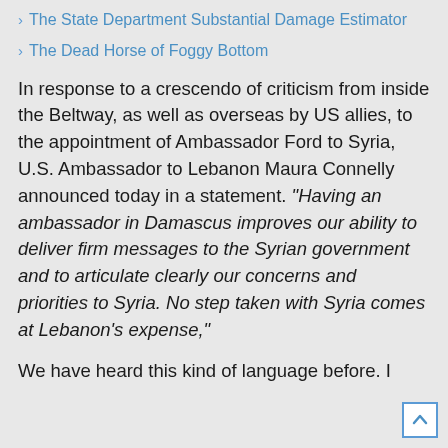The State Department Substantial Damage Estimator
The Dead Horse of Foggy Bottom
In response to a crescendo of criticism from inside the Beltway, as well as overseas by US allies, to the appointment of Ambassador Ford to Syria, U.S. Ambassador to Lebanon Maura Connelly announced today in a statement. “Having an ambassador in Damascus improves our ability to deliver firm messages to the Syrian government and to articulate clearly our concerns and priorities to Syria. No step taken with Syria comes at Lebanon’s expense,”
We have heard this kind of language before. I